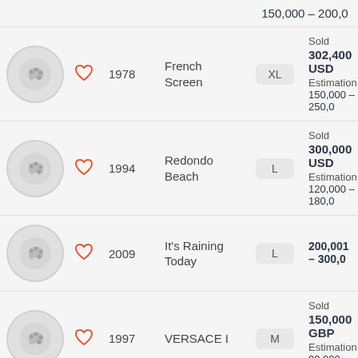150,000 – 200,000
1978 | French Screen | XL | Sold 302,400 USD | Estimation 150,000 – 250,000
1994 | Redondo Beach | L | Sold 300,000 USD | Estimation 120,000 – 180,000
2009 | It's Raining Today | L | 200,001 – 300,000
1997 | VERSACE I | M | Sold 150,000 GBP | Estimation 90,000 – 120,000